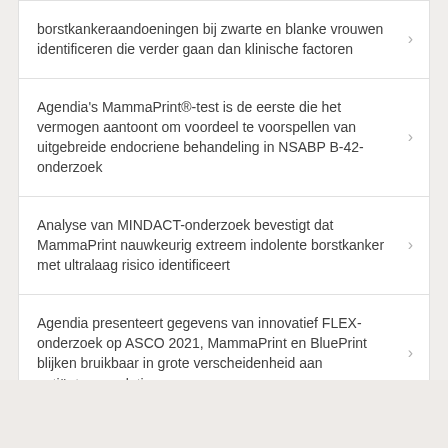borstkankeraandoeningen bij zwarte en blanke vrouwen identificeren die verder gaan dan klinische factoren
Agendia's MammaPrint®-test is de eerste die het vermogen aantoont om voordeel te voorspellen van uitgebreide endocriene behandeling in NSABP B-42-onderzoek
Analyse van MINDACT-onderzoek bevestigt dat MammaPrint nauwkeurig extreem indolente borstkanker met ultralaag risico identificeert
Agendia presenteert gegevens van innovatief FLEX-onderzoek op ASCO 2021, MammaPrint en BluePrint blijken bruikbaar in grote verscheidenheid aan patiëntenpopulaties